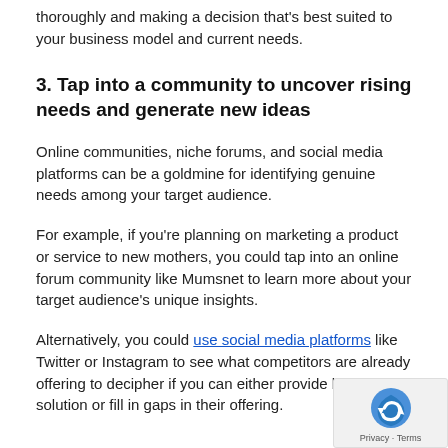thoroughly and making a decision that's best suited to your business model and current needs.
3. Tap into a community to uncover rising needs and generate new ideas
Online communities, niche forums, and social media platforms can be a goldmine for identifying genuine needs among your target audience.
For example, if you're planning on marketing a product or service to new mothers, you could tap into an online forum community like Mumsnet to learn more about your target audience's unique insights.
Alternatively, you could use social media platforms like Twitter or Instagram to see what competitors are already offering to decipher if you can either provide better solution or fill in gaps in their offering.